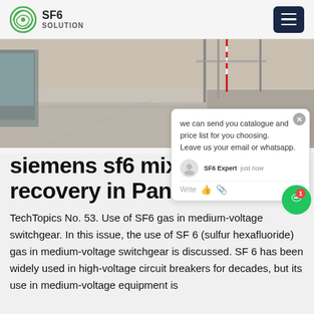SF6 SOLUTION
[Figure (photo): Outdoor industrial or electrical substation area with concrete pathways, metal structures, and gravel ground surface.]
siemens sf6 mixture recovery in Panama
TechTopics No. 53. Use of SF6 gas in medium-voltage switchgear. In this issue, the use of SF 6 (sulfur hexafluoride) gas in medium-voltage switchgear is discussed. SF 6 has been widely used in high-voltage circuit breakers for decades, but its use in medium-voltage equipment is